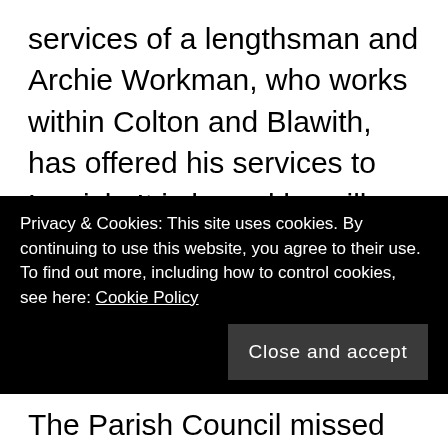services of a lengthsman and Archie Workman, who works within Colton and Blawith, has offered his services to Lowick. It is hoped he will attend the next meeting so that his help can be utilised in the parish to keep the roadside verges, footpaths and gullies clear. There may be some money from District Councillor, Anne Hall. There is a suggestion that this could be used to put flower boxes at Lowick Bridge, either side of
Privacy & Cookies: This site uses cookies. By continuing to use this website, you agree to their use.
To find out more, including how to control cookies, see here: Cookie Policy
Close and accept
The Parish Council missed the opportunity to